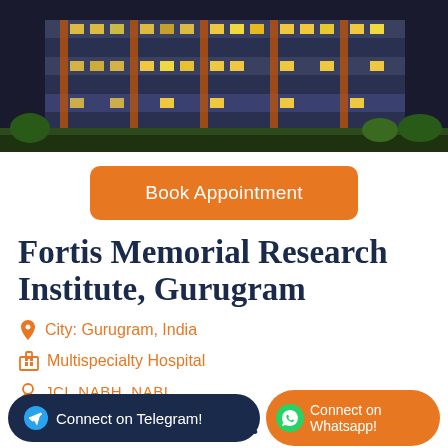[Figure (photo): Aerial/exterior photo of Fortis Memorial Research Institute building, a multi-story modern hospital with orange and glass facade, illuminated at dusk]
Book Appointment
Fortis Memorial Research Institute, Gurugram
City: Gurugram, India
Multispecialty Hospital
JCI, NABH, NABI
Hospital Highlights:
Connect on Telegram!
Connect on Whatsapp!